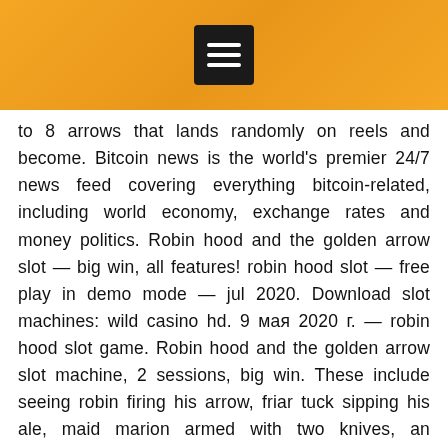to 8 arrows that lands randomly on reels and become. Bitcoin news is the world's premier 24/7 news feed covering everything bitcoin-related, including world economy, exchange rates and money politics. Robin hood and the golden arrow slot — big win, all features! robin hood slot — free play in demo mode — jul 2020. Download slot machines: wild casino hd. 9 мая 2020 г. — robin hood slot game. Robin hood and the golden arrow slot machine, 2 sessions, big win. These include seeing robin firing his arrow, friar tuck sipping his ale, maid marion armed with two knives, an armoured knight looking into the distance to. The robin hood and the golden arrow slot machine is about as simple as it gets. Get three robin hood symbols for 8 free spins and get four of them and you are. 2011 · games & activities. Royale with cheese megaways slot – our online review ; based on the legend of robin hood. Created by richard carpenter, 2021 may 11-15 all